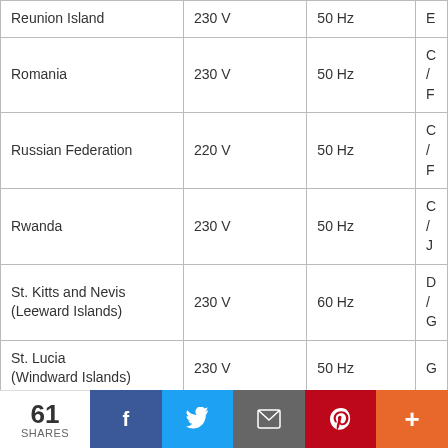| Country | Voltage | Frequency | Plug Type |
| --- | --- | --- | --- |
| Reunion Island | 230 V | 50 Hz | E |
| Romania | 230 V | 50 Hz | C / F |
| Russian Federation | 220 V | 50 Hz | C / F |
| Rwanda | 230 V | 50 Hz | C / J |
| St. Kitts and Nevis (Leeward Islands) | 230 V | 60 Hz | D / G |
| St. Lucia (Windward Islands) | 230 V | 50 Hz | G |
| St. Vincent (Windward Islands) | 230 V | 50 Hz | A / C / E / G / I / K |
| Samoa | 230 V | 50 Hz | I |
| San Marino | 230 V | 50 Hz | F / L |
| Saudi Arabia | 110 V / 220 V *** | 60 Hz | A / B / C / G |
| Senegal | 230 V | 50 Hz | C / D / E / K |
61 SHARES